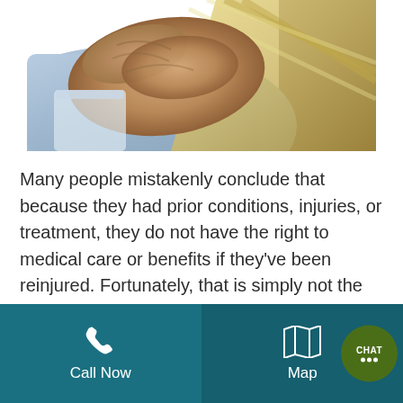[Figure (photo): Person in blue dress shirt with hands clasped at wrist, yellow striped tie visible in background, close-up photo]
Many people mistakenly conclude that because they had prior conditions, injuries, or treatment, they do not have the right to medical care or benefits if they've been reinjured. Fortunately, that is simply not the case. Our Minneapolis work injury attorneys have outlined what you should know about pre-existing conditions and prior injuries if [...]
Call Now  Map  CHAT